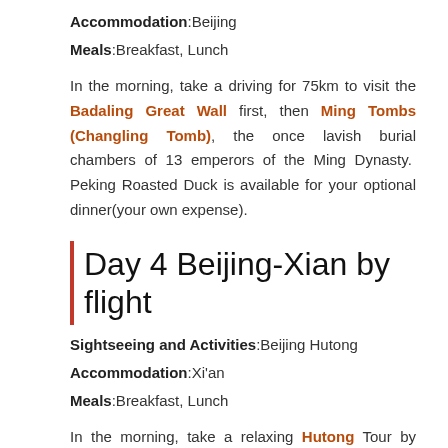Accommodation:Beijing
Meals:Breakfast, Lunch
In the morning, take a driving for 75km to visit the Badaling Great Wall first, then Ming Tombs (Changling Tomb), the once lavish burial chambers of 13 emperors of the Ming Dynasty.  Peking Roasted Duck is available for your optional dinner(your own expense).
Day 4 Beijing-Xian by flight
Sightseeing and Activities:Beijing Hutong
Accommodation:Xi'an
Meals:Breakfast, Lunch
In the morning, take a relaxing Hutong Tour by rickshawto visit the ancient lanes and alleyways of Beijing. Hutong Tour will give you an insight into the lives of ordinary Chinese people and reveal their social